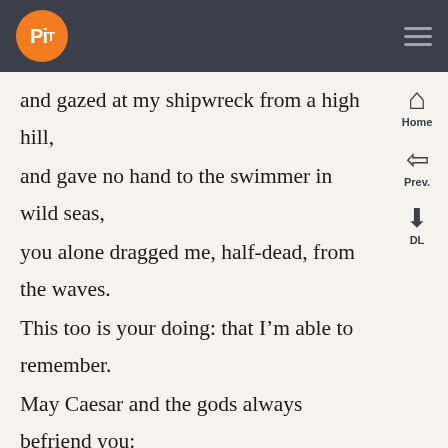PiT [logo] — navigation header with hamburger menu
and gazed at my shipwreck from a high hill,
and gave no hand to the swimmer in wild seas,
you alone dragged me, half-dead, from the waves.
This too is your doing: that I’m able to remember.
May Caesar and the gods always befriend you:
no prayer of mine could be more heartfelt.
If you allowed it, my work would set these things
in the brightest of lights in eloquent books:
even now my Muse, though ordered to be silent,
can scarcely hold back from naming you, against
your wishes.